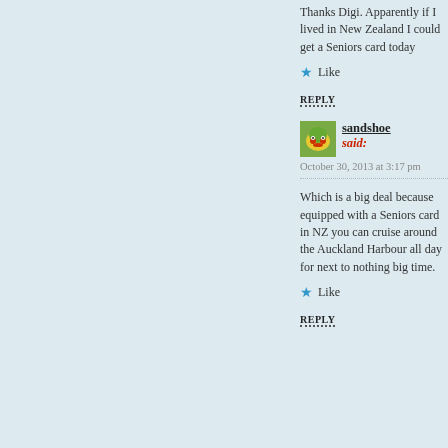Thanks Digi. Apparently if I lived in New Zealand I could get a Seniors card today
Like
REPLY
sandshoe said: October 30, 2013 at 3:17 pm
Which is a big deal because equipped with a Seniors card in NZ you can cruise around the Auckland Harbour all day for next to nothing big time.
Like
REPLY